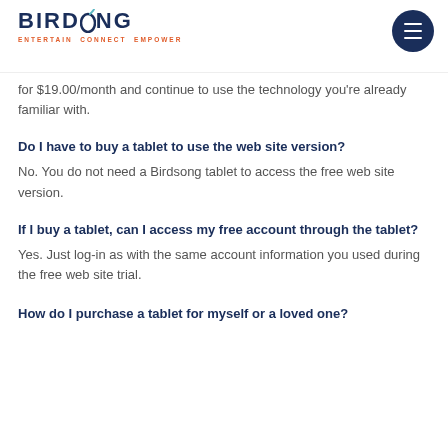[Figure (logo): Birdsong logo with tagline ENTERTAIN CONNECT EMPOWER and a hamburger menu button]
for $19.00/month and continue to use the technology you're already familiar with.
Do I have to buy a tablet to use the web site version?
No. You do not need a Birdsong tablet to access the free web site version.
If I buy a tablet, can I access my free account through the tablet?
Yes. Just log-in as with the same account information you used during the free web site trial.
How do I purchase a tablet for myself or a loved one?